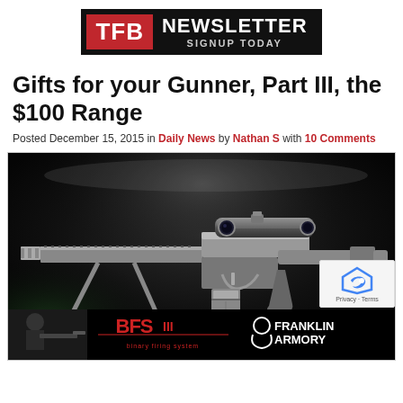[Figure (logo): TFB Newsletter Signup Today banner with red TFB box and white text on black background]
Gifts for your Gunner, Part III, the $100 Range
Posted December 15, 2015 in Daily News by Nathan S with 10 Comments
[Figure (photo): Close-up photograph of a tactical rifle with scope on dark background, with a bottom advertisement bar showing a person shooting, BFS binary firing system logo, and Franklin Armory logo]